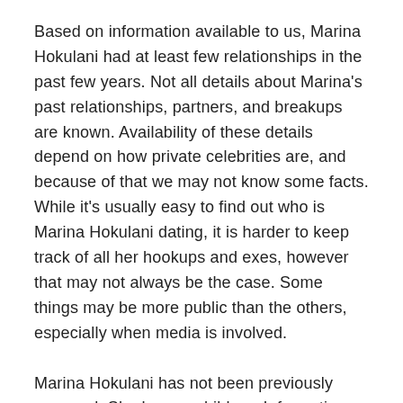Based on information available to us, Marina Hokulani had at least few relationships in the past few years. Not all details about Marina's past relationships, partners, and breakups are known. Availability of these details depend on how private celebrities are, and because of that we may not know some facts. While it's usually easy to find out who is Marina Hokulani dating, it is harder to keep track of all her hookups and exes, however that may not always be the case. Some things may be more public than the others, especially when media is involved.
Marina Hokulani has not been previously engaged. She has no children. Information on the past dates and hookups is regularly updated.